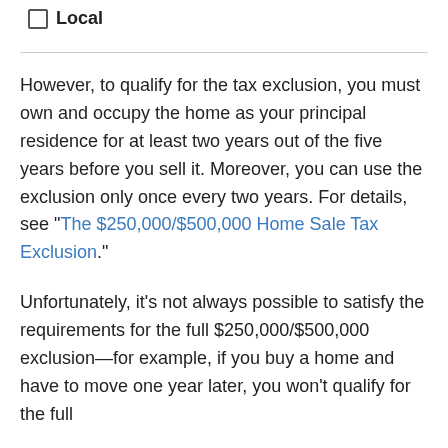Local
However, to qualify for the tax exclusion, you must own and occupy the home as your principal residence for at least two years out of the five years before you sell it. Moreover, you can use the exclusion only once every two years. For details, see "The $250,000/$500,000 Home Sale Tax Exclusion."
Unfortunately, it's not always possible to satisfy the requirements for the full $250,000/$500,000 exclusion—for example, if you buy a home and have to move one year later, you won't qualify for the full